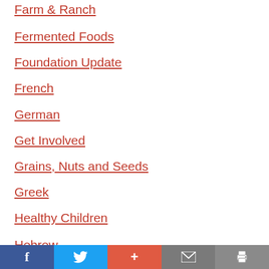Farm & Ranch
Fermented Foods
Foundation Update
French
German
Get Involved
Grains, Nuts and Seeds
Greek
Healthy Children
Hebrew